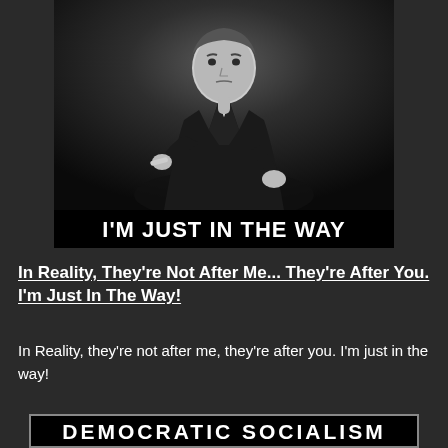[Figure (photo): Black and white photo of a man in a dark suit sitting in a chair, pointing toward the camera with one hand, looking directly at the viewer with a stern expression. Below the photo is a black bar with white bold text reading: I'M JUST IN THE WAY]
In Reality, They're Not After Me... They're After You. I'm Just In The Way!
In Reality, they're not after me, they're after you. I'm just in the way!
[Figure (other): Partial banner with text: DEMOCRATIC SOCIALISM in large bold black-outlined white letters on a black background with a border]